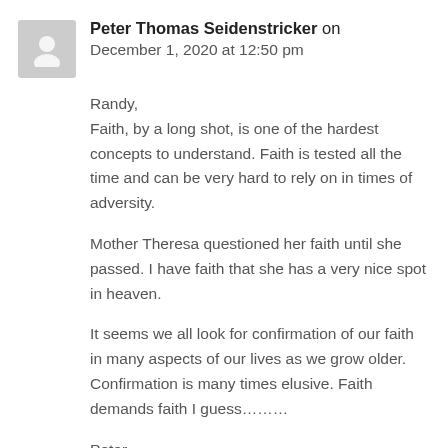Peter Thomas Seidenstricker on December 1, 2020 at 12:50 pm
Randy,
Faith, by a long shot, is one of the hardest concepts to understand. Faith is tested all the time and can be very hard to rely on in times of adversity.

Mother Theresa questioned her faith until she passed. I have faith that she has a very nice spot in heaven.

It seems we all look for confirmation of our faith in many aspects of our lives as we grow older. Confirmation is many times elusive. Faith demands faith I guess........

Peter